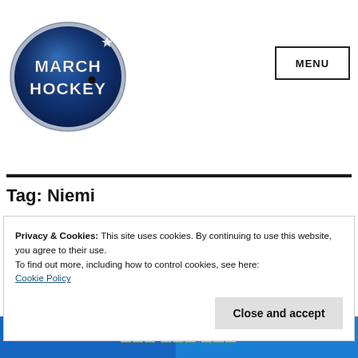[Figure (logo): March Hockey oval logo with dark blue background and silver metallic 3D text reading MARCH HOCKEY]
MENU
Tag: Niemi
Privacy & Cookies: This site uses cookies. By continuing to use this website, you agree to their use.
To find out more, including how to control cookies, see here:
Cookie Policy
Close and accept
[Figure (photo): Partial view of a hockey team logo at the bottom of the page, blue and yellow colors]